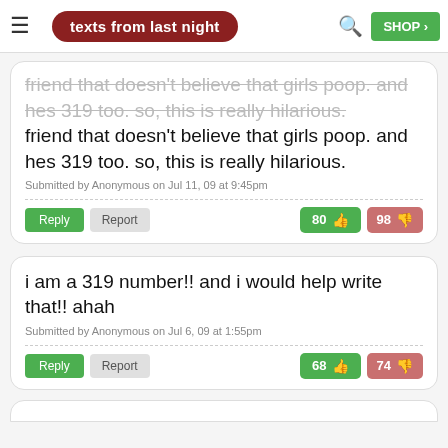texts from last night
friend that doesn't believe that girls poop. and hes 319 too. so, this is really hilarious.
Submitted by Anonymous on Jul 11, 09 at 9:45pm
i am a 319 number!! and i would help write that!! ahah
Submitted by Anonymous on Jul 6, 09 at 1:55pm